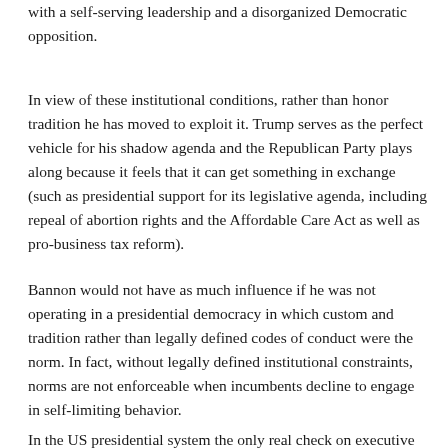with a self-serving leadership and a disorganized Democratic opposition.
In view of these institutional conditions, rather than honor tradition he has moved to exploit it. Trump serves as the perfect vehicle for his shadow agenda and the Republican Party plays along because it feels that it can get something in exchange (such as presidential support for its legislative agenda, including repeal of abortion rights and the Affordable Care Act as well as pro-business tax reform).
Bannon would not have as much influence if he was not operating in a presidential democracy in which custom and tradition rather than legally defined codes of conduct were the norm. In fact, without legally defined institutional constraints, norms are not enforceable when incumbents decline to engage in self-limiting behavior.
In the US presidential system the only real check on executive